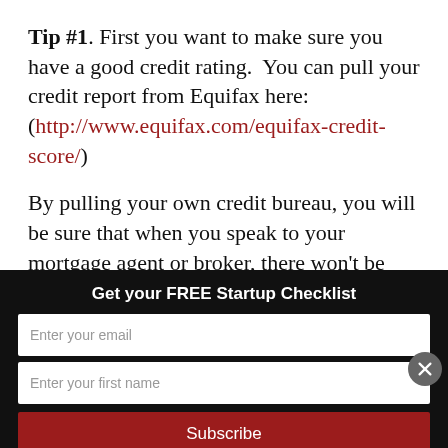Tip #1. First you want to make sure you have a good credit rating. You can pull your credit report from Equifax here: (http://www.equifax.com/equifax-credit-score/)
By pulling your own credit bureau, you will be sure that when you speak to your mortgage agent or broker, there won't be any surprises and if there are, you have already taken care of them. You want to
Get your FREE Startup Checklist